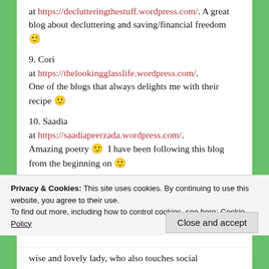at https://declutteringthestuff.wordpress.com/. A great blog about decluttering and saving/financial freedom 🙂
9. Cori at https://thelookingglasslife.wordpress.com/. One of the blogs that always delights me with their recipe 🙂
10. Saadia at https://saadiapeerzada.wordpress.com/. Amazing poetry 🙂  I have been following this blog from the beginning on 🙂
11. averagegirlsavingmoney at https://averagegirlsavingmoney.com/
Privacy & Cookies: This site uses cookies. By continuing to use this website, you agree to their use. To find out more, including how to control cookies, see here: Cookie Policy
wise and lovely lady, who also touches social